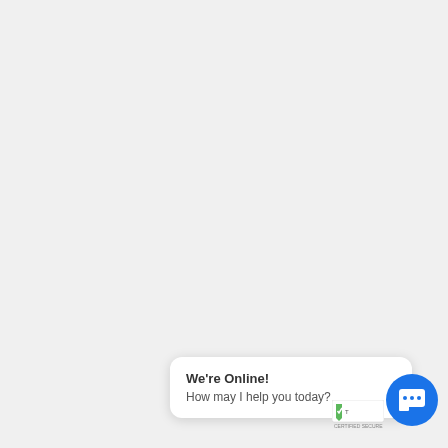We're Online!
How may I help you today?
[Figure (illustration): Blue circular chat button icon with speech bubble and dots]
[Figure (logo): TrustArc / Truste Certified Secure badge (partially visible)]